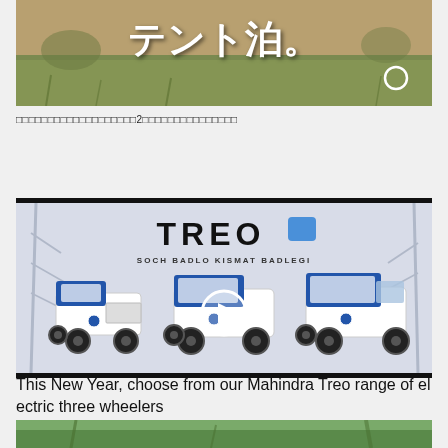[Figure (photo): Outdoor camping/nature scene with Japanese text overlay reading テント泊。 and a small circle icon]
□□□□□□□□□□□□□□□□□□□2□□□□□□□□□□□□□□□
[Figure (photo): Mahindra Treo electric three wheelers advertisement with logo TREO and tagline SOCH BADLO KISMAT BADLEGI, showing three variants of the vehicle with a video play button overlay]
This New Year, choose from our Mahindra Treo range of electric three wheelers
[Figure (photo): Partial forest/nature scene at bottom of page]